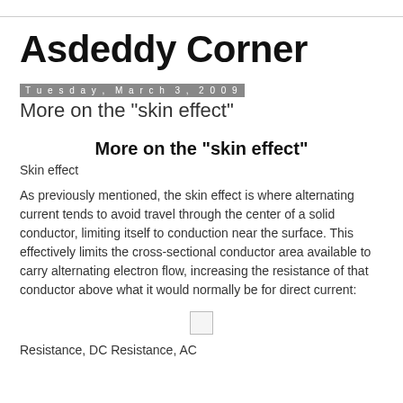Asdeddy Corner
Tuesday, March 3, 2009
More on the "skin effect"
More on the "skin effect"
Skin effect
As previously mentioned, the skin effect is where alternating current tends to avoid travel through the center of a solid conductor, limiting itself to conduction near the surface. This effectively limits the cross-sectional conductor area available to carry alternating electron flow, increasing the resistance of that conductor above what it would normally be for direct current:
[Figure (other): Small placeholder image box]
Resistance, DC Resistance, AC